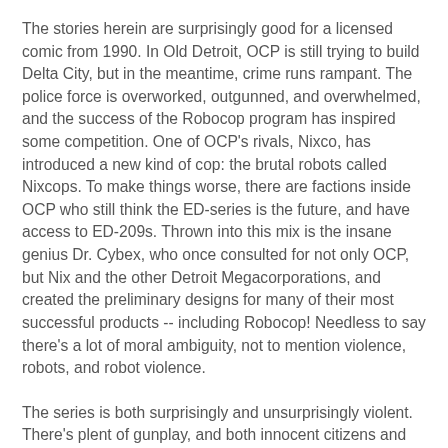The stories herein are surprisingly good for a licensed comic from 1990. In Old Detroit, OCP is still trying to build Delta City, but in the meantime, crime runs rampant. The police force is overworked, outgunned, and overwhelmed, and the success of the Robocop program has inspired some competition. One of OCP's rivals, Nixco, has introduced a new kind of cop: the brutal robots called Nixcops. To make things worse, there are factions inside OCP who still think the ED-series is the future, and have access to ED-209s. Thrown into this mix is the insane genius Dr. Cybex, who once consulted for not only OCP, but Nix and the other Detroit Megacorporations, and created the preliminary designs for many of their most successful products -- including Robocop! Needless to say there's a lot of moral ambiguity, not to mention violence, robots, and robot violence.
The series is both surprisingly and unsurprisingly violent. There's plent of gunplay, and both innocent citizens and perps are gunned down. This is surprising considering the fact that this is a licensed book; but, really, it's unsurprising given both the license in question, and the timeframe of